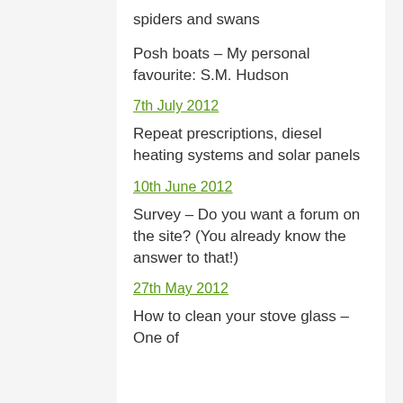spiders and swans
Posh boats – My personal favourite: S.M. Hudson
7th July 2012
Repeat prescriptions, diesel heating systems and solar panels
10th June 2012
Survey – Do you want a forum on the site? (You already know the answer to that!)
27th May 2012
How to clean your stove glass – One of